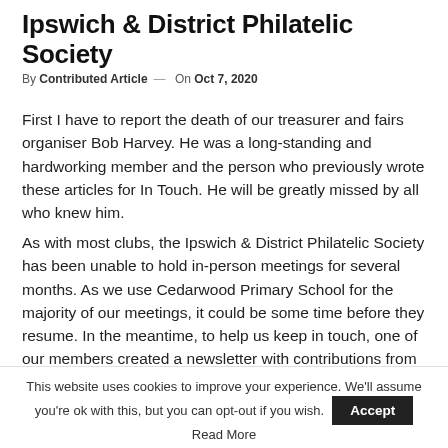Ipswich & District Philatelic Society
By Contributed Article — On Oct 7, 2020
First I have to report the death of our treasurer and fairs organiser Bob Harvey. He was a long-standing and hardworking member and the person who previously wrote these articles for In Touch. He will be greatly missed by all who knew him.
As with most clubs, the Ipswich & District Philatelic Society has been unable to hold in-person meetings for several months. As we use Cedarwood Primary School for the majority of our meetings, it could be some time before they resume. In the meantime, to help us keep in touch, one of our members created a newsletter with contributions from members, which has been sent to all members via email and posted on our website.
This website uses cookies to improve your experience. We'll assume you're ok with this, but you can opt-out if you wish. Accept
Read More